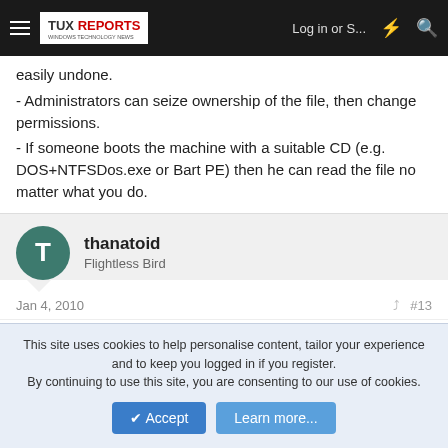TUX REPORTS — Log in or S... [nav bar]
easily undone.
- Administrators can seize ownership of the file, then change permissions.
- If someone boots the machine with a suitable CD (e.g. DOS+NTFSDos.exe or Bart PE) then he can read the file no matter what you do.
thanatoid
Flightless Bird
Jan 4, 2010	#13
"HeyBub" <heybub@gmail.com> wrote in news:uxB28NZjKHA.5608@TK2MSFTNGP05.phx.gbl:
This site uses cookies to help personalise content, tailor your experience and to keep you logged in if you register.
By continuing to use this site, you are consenting to our use of cookies.